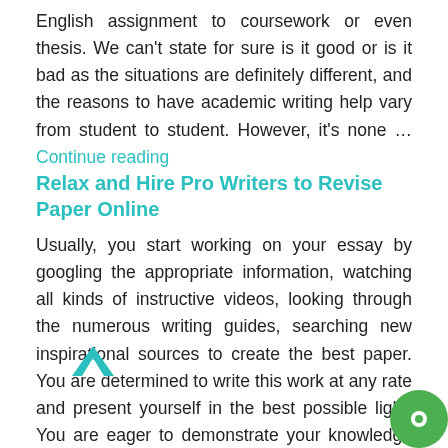English assignment to coursework or even thesis. We can't state for sure is it good or is it bad as the situations are definitely different, and the reasons to have academic writing help vary from student to student. However, it's none …Continue reading
Relax and Hire Pro Writers to Revise Paper Online
Usually, you start working on your essay by googling the appropriate information, watching all kinds of instructive videos, looking through the numerous writing guides, searching new inspirational sources to create the best paper. You are determined to write this work at any rate and present yourself in the best possible light. You are eager to demonstrate your knowledge of the subject and sharpened writing skills